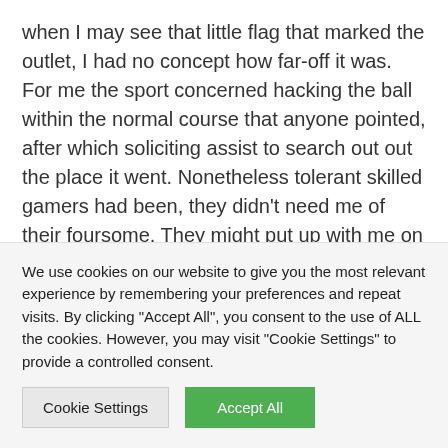when I may see that little flag that marked the outlet, I had no concept how far-off it was. For me the sport concerned hacking the ball within the normal course that anyone pointed, after which soliciting assist to search out out the place it went. Nonetheless tolerant skilled gamers had been, they didn't need me of their foursome. They might put up with me on the driving vary, the place my lack of ability was much less of an issue, so long as I used to be quiet. The vary was a hushed place so golfers
We use cookies on our website to give you the most relevant experience by remembering your preferences and repeat visits. By clicking "Accept All", you consent to the use of ALL the cookies. However, you may visit "Cookie Settings" to provide a controlled consent.